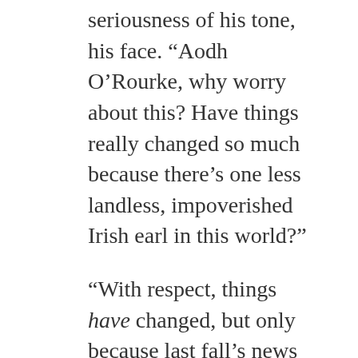seriousness of his tone, his face. “Aodh O’Rourke, why worry about this? Have things really changed so much because there’s one less landless, impoverished Irish earl in this world?”
“With respect, things have changed, but only because last fall’s news that John O’Neill was killed in Rome has been slowly awakening me, has shown me what I’ve been slumbering through: that you are a prince and must be treated as one.”
Hugh laughed. “Treated as a prince?”
But Aodh O’Rourke was deadly serious. “Aye, as a prince. And because you didn’t put on airs about your title like John O’Neill — God rest his quarrelsome soul — it was easy enough to put